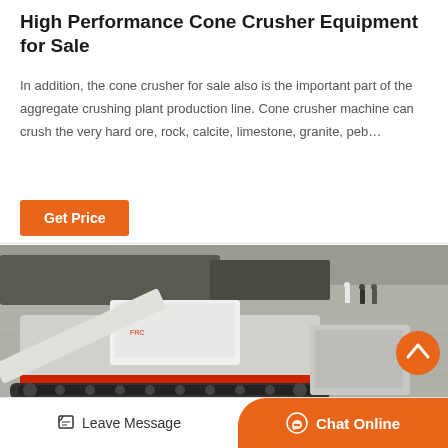High Performance Cone Crusher Equipment for Sale
In addition, the cone crusher for sale also is the important part of the aggregate crushing plant production line. Cone crusher machine can crush the very hard ore, rock, calcite, limestone, granite, peb…
[Figure (other): Button labeled Get Price with orange background]
[Figure (photo): Aerial view of a white and red mobile cone crusher machine on a paved surface with people standing in the background and heavy equipment visible.]
Leave Message   Chat Online